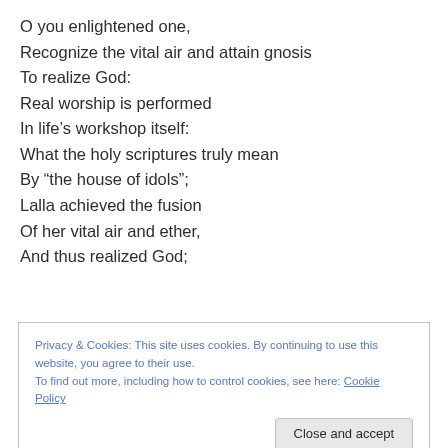O you enlightened one,
Recognize the vital air and attain gnosis
To realize God:
Real worship is performed
In life’s workshop itself:
What the holy scriptures truly mean
By “the house of idols”;
Lalla achieved the fusion
Of her vital air and ether,
And thus realized God;
Privacy & Cookies: This site uses cookies. By continuing to use this website, you agree to their use.
To find out more, including how to control cookies, see here: Cookie Policy
Close and accept
Intoxicated (as a mystic) she contrived